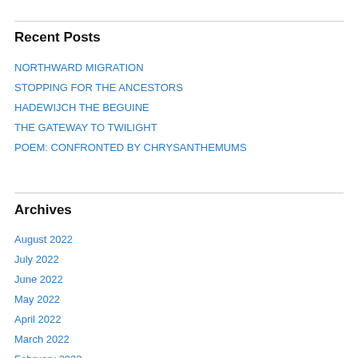Recent Posts
NORTHWARD MIGRATION
STOPPING FOR THE ANCESTORS
HADEWIJCH THE BEGUINE
THE GATEWAY TO TWILIGHT
POEM: CONFRONTED BY CHRYSANTHEMUMS
Archives
August 2022
July 2022
June 2022
May 2022
April 2022
March 2022
February 2022
January 2022